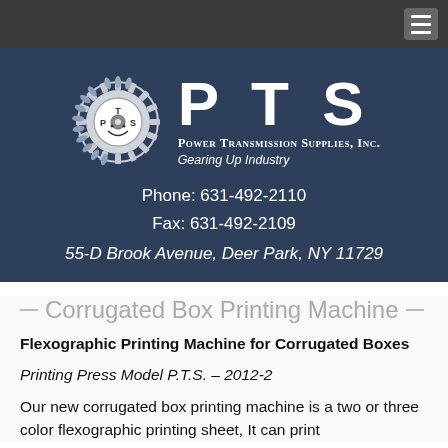[Figure (logo): PTS Power Transmission Supplies Inc. logo with gear icon and company name]
Phone: 631-492-2110
Fax: 631-492-2109
55-D Brook Avenue, Deer Park, NY 11729
Corrugated Box Printing Machine
Flexographic Printing Machine for Corrugated Boxes
Printing Press Model P.T.S. – 2012-2
Our new corrugated box printing machine is a two or three color flexographic printing sheet, It can print